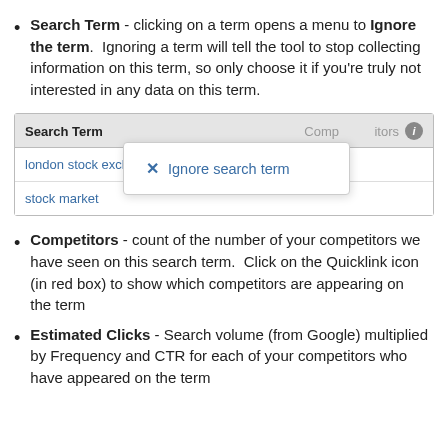Search Term - clicking on a term opens a menu to Ignore the term. Ignoring a term will tell the tool to stop collecting information on this term, so only choose it if you're truly not interested in any data on this term.
[Figure (screenshot): A table screenshot showing Search Term and Competitors columns, with 'london stock exchange' and 'stock market' rows. A dropdown popup appears with 'Ignore search term' option.]
Competitors - count of the number of your competitors we have seen on this search term. Click on the Quicklink icon (in red box) to show which competitors are appearing on the term
Estimated Clicks - Search volume (from Google) multiplied by Frequency and CTR for each of your competitors who have appeared on the term